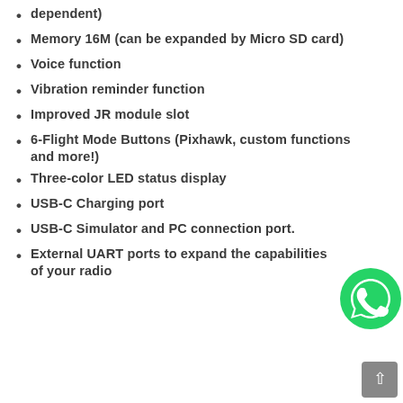dependent)
Memory 16M (can be expanded by Micro SD card)
Voice function
Vibration reminder function
Improved JR module slot
6-Flight Mode Buttons (Pixhawk, custom functions and more!)
Three-color LED status display
USB-C Charging port
USB-C Simulator and PC connection port.
External UART ports to expand the capabilities of your radio
[Figure (logo): WhatsApp green phone icon]